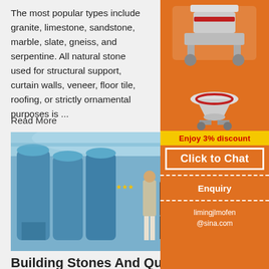The most popular types include granite, limestone, sandstone, marble, slate, gneiss, and serpentine. All natural stone used for structural support, curtain walls, veneer, floor tile, roofing, or strictly ornamental purposes is ...
Read More
[Figure (photo): Industrial facility with large blue cylindrical grinding/milling machines, two workers standing among the equipment inside a large warehouse]
Building Stones And Quarrying Of Expert Civil
The process of extracting or taking out stones from natural rocks bed is known as Quarrying of Stones. The term 'Quarry' is used to indicate the exposed surface of the natural rock. The place or site from where stones are taken out is called 'Quarry Site'. The terms mine refers to the places where we extract minerals
[Figure (infographic): Orange sidebar advertisement showing industrial crushing/grinding machinery images, 'Enjoy 3% discount' banner in yellow, 'Click to Chat' button in white on orange background, 'Enquiry' section, and email 'limingjlmofen@sina.com']